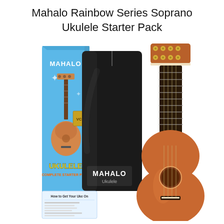Mahalo Rainbow Series Soprano Ukulele Starter Pack
[Figure (photo): Product photo of Mahalo Rainbow Series Soprano Ukulele Starter Pack, showing a ukulele instrument in brown/natural finish, a black gig bag with MAHALO Ukulele branding, a colorful blue product box labeled MAHALO with rainbow ukulele complete starter pack text, and a small instruction booklet labeled How to Get Your Uke On.]